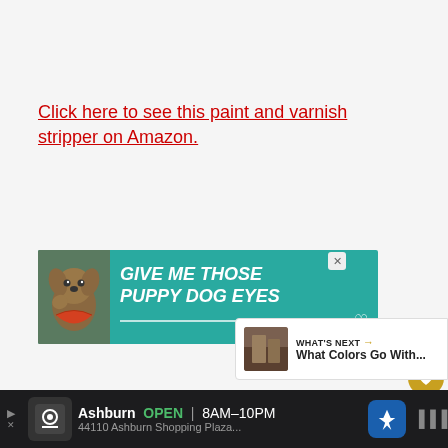Click here to see this paint and varnish stripper on Amazon.
[Figure (screenshot): Advertisement banner with teal background showing a dog with text 'GIVE ME THOSE PUPPY DOG EYES' with decorative lines and heart outline]
[Figure (screenshot): UI elements: heart/like button (gold circle), count '2', and share button (white circle with share icon)]
[Figure (screenshot): What's Next panel with thumbnail image and text 'WHAT'S NEXT → What Colors Go With...']
[Figure (screenshot): Bottom advertisement bar showing 'Ashburn OPEN 8AM-10PM 44110 Ashburn Shopping Plaza...' with logo, navigation arrow icon, and speaker icon on dark background]